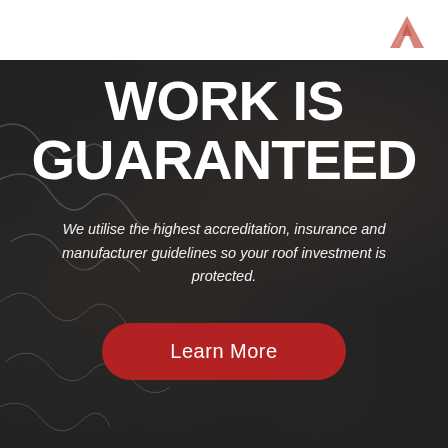[Figure (photo): Dark aerial/rocky textured background with white squiggly lines on the left side, with a dark overlay. A person's hands appear partially visible at the right edge.]
WORK IS GUARANTEED
We utilise the highest accreditation, insurance and manufacturer guidelines so your roof investment is protected.
Learn More
[Figure (logo): Reddish-pink mountain/peak logo icon in the top right corner]